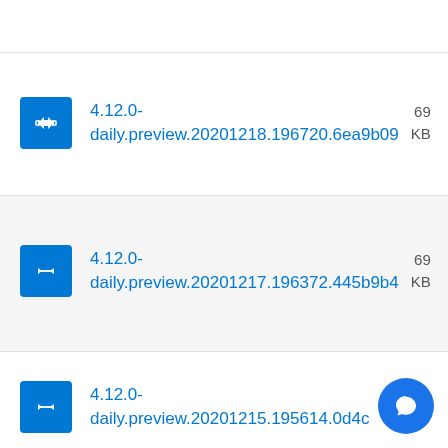4.12.0-daily.preview.20201218.196720.6ea9b09  69... KB
4.12.0-daily.preview.20201217.196372.445b9b4  69... KB
4.12.0-daily.preview.20201215.195614.0d4c...  69... KB